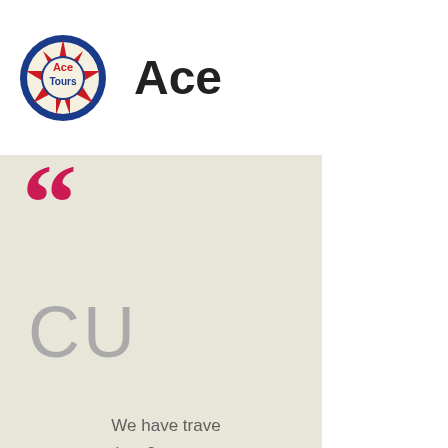[Figure (logo): Ace Tours logo — circular compass/star badge with 'Ace Tours' text inside, red and blue colors]
Ace
[Figure (illustration): Large magenta/pink opening double quotation marks decorative element on beige background]
CU
We have trave last 8 years a coach is cl hesitate to rec
[Figure (other): Gray circular dot navigation indicator on white background]